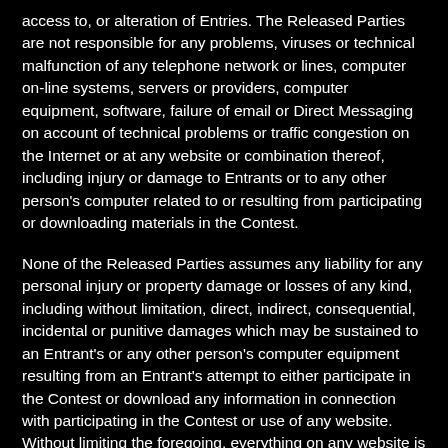access to, or alteration of Entries. The Released Parties are not responsible for any problems, viruses or technical malfunction of any telephone network or lines, computer on-line systems, servers or providers, computer equipment, software, failure of email or Direct Messaging on account of technical problems or traffic congestion on the Internet or at any website or combination thereof, including injury or damage to Entrants or to any other person's computer related to or resulting from participating or downloading materials in the Contest.
None of the Released Parties assumes any liability for any personal injury or property damage or losses of any kind, including without limitation, direct, indirect, consequential, incidental or punitive damages which may be sustained to an Entrant's or any other person's computer equipment resulting from an Entrant's attempt to either participate in the Contest or download any information in connection with participating in the Contest or use of any website. Without limiting the foregoing, everything on any website is provided "as is" without any warranty of any kind, either express or implied, including but not limited to, the implied warranties of merchantability, fitness for a particular purpose or non-infringement.